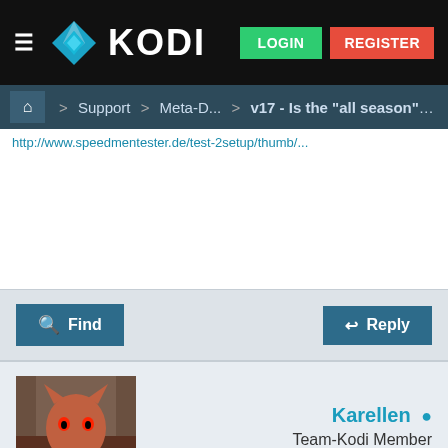[Figure (screenshot): Kodi forum website screenshot showing navigation bar with Kodi logo, LOGIN and REGISTER buttons, breadcrumb navigation, Find and Reply buttons, a forum post by user Karellen (Team-Kodi Member, Posts: 17,552) dated 2018-01-27 21:34, post #7, and beginning of post text about English language and describing problems.]
KODI | Support > Meta-D... > v17 - Is the "all season" di...
http://www.speedmentester.de/test-2setup/thumb/
Find   Reply
Karellen  Team-Kodi Member  Posts: 17,552
2018-01-27, 21:34  #7
Ok, I understand that English may not be your first language, but it is annoying that it took 6 posts for you to finally describe the problem. Next time, start off with...